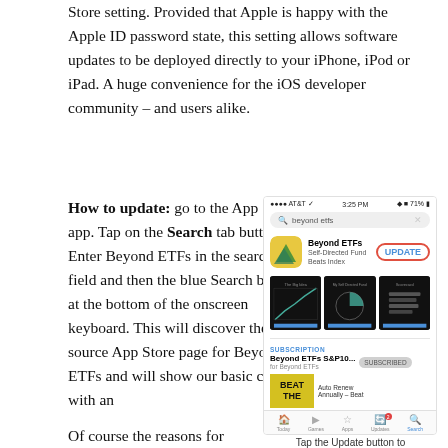Store setting. Provided that Apple is happy with the Apple ID password state, this setting allows software updates to be deployed directly to your iPhone, iPod or iPad. A huge convenience for the iOS developer community – and users alike.
How to update: go to the App Store app. Tap on the Search tab button. Enter Beyond ETFs in the search field and then the blue Search button at the bottom of the onscreen keyboard. This will discover the source App Store page for Beyond ETFs and will show our basic content with an
[Figure (screenshot): iPhone App Store screenshot showing Beyond ETFs app search result with UPDATE button circled in red, app screenshots, subscription section, and Beat The... image.]
Tap the Update button to
Of course the reasons for